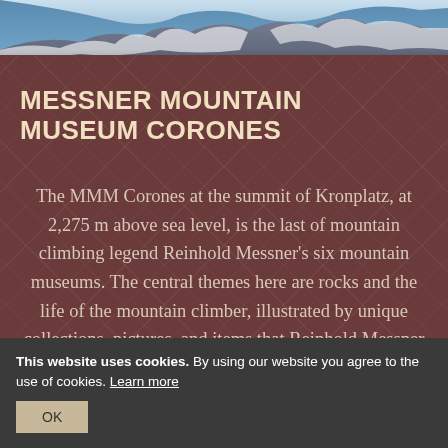[Figure (photo): Snow-capped mountain peak viewed from above, blue sky and snow visible at the top of the image.]
MESSNER MOUNTAIN MUSEUM CORONES
The MMM Corones at the summit of Kronplatz, at 2,275 m above sea level, is the last of mountain climbing legend Reinhold Messner's six mountain museums. The central themes here are rocks and the life of the mountain climber, illustrated by unique collections, pictures, and items that Reinhold Messner has collected in his life as a boundary pusher.
This website uses cookies. By using our website you agree to the use of cookies. Learn more
OK